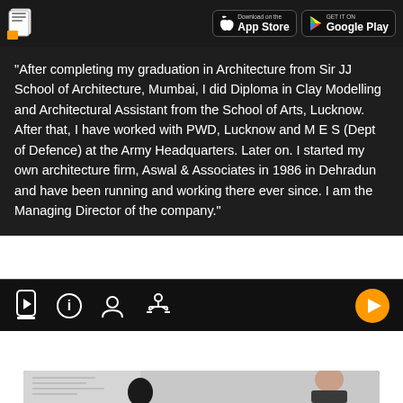[Figure (screenshot): App header bar with document icon and App Store / Google Play download buttons]
"After completing my graduation in Architecture from Sir JJ School of Architecture, Mumbai, I did Diploma in Clay Modelling and Architectural Assistant from the School of Arts, Lucknow. After that, I have worked with PWD, Lucknow and M E S (Dept of Defence) at the Army Headquarters. Later on. I started my own architecture firm, Aswal & Associates in 1986 in Dehradun and have been running and working there ever since. I am the Managing Director of the company."
[Figure (screenshot): Navigation bar with icons (video, info, profile, settings) and an orange play button on the right]
[Figure (screenshot): Bottom video thumbnail strip showing a person in front of architectural drawings]